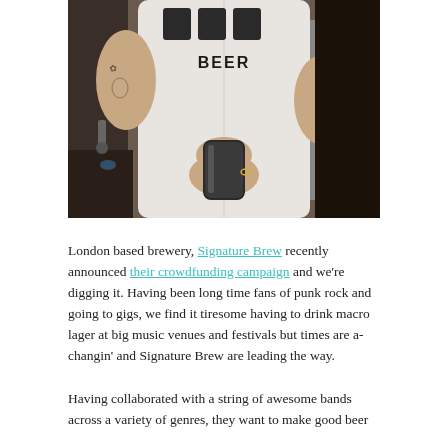[Figure (photo): Person wearing a white t-shirt with beer can graphics and the word BEER, holding a beer can, with tattoos visible on their arm, industrial brewery equipment visible in background]
London based brewery, Signature Brew recently announced their crowdfunding campaign and we're digging it. Having been long time fans of punk rock and going to gigs, we find it tiresome having to drink macro lager at big music venues and festivals but times are a-changin' and Signature Brew are leading the way.
Having collaborated with a string of awesome bands across a variety of genres, they want to make good beer